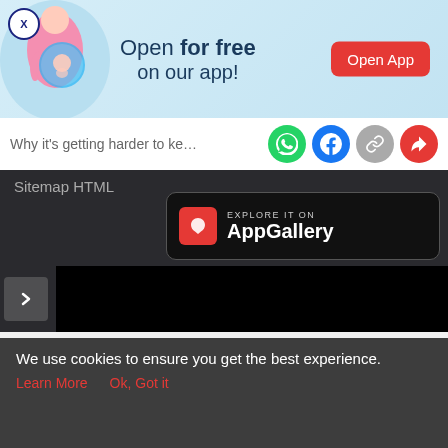[Figure (screenshot): Promotional banner ad with pregnancy illustration. Text: 'Open for free on our app!' with a red 'Open App' button. Close (X) button top-left.]
Why it's getting harder to keep baby s
[Figure (screenshot): Social share icons: WhatsApp (green), Facebook (blue), link (gray), share (red)]
Sitemap HTML
[Figure (screenshot): Huawei AppGallery badge: 'EXPLORE IT ON AppGallery']
[Figure (screenshot): Video carousel with right-pointing arrow button on dark background. Black video panel on right. Text: 'Mums around th']
[Figure (screenshot): Bottom navigation bar with icons: Tools (grid), Articles (clipboard), central pink circle with baby feet, Feed (chat bubbles), Poll (bar chart)]
We use cookies to ensure you get the best experience.
Learn More   Ok, Got it